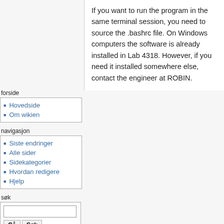If you want to run the program in the same terminal session, you need to source the .bashrc file. On Windows computers the software is already installed in Lab 4318. However, if you need it installed somewhere else, contact the engineer at ROBIN.
forside
Hovedside
Om wikien
navigasjon
Siste endringer
Alle sider
Sidekategorier
Hvordan redigere
Hjelp
søk
verktøy
Lenker hit
Relaterte endringer